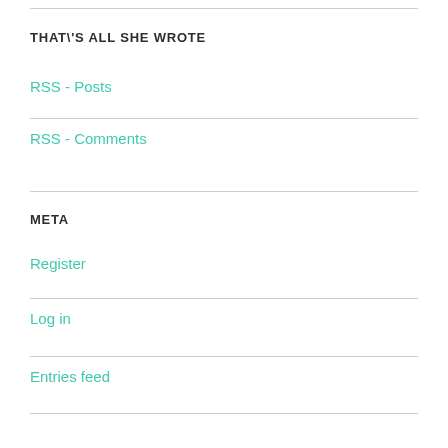THAT\'S ALL SHE WROTE
RSS - Posts
RSS - Comments
META
Register
Log in
Entries feed